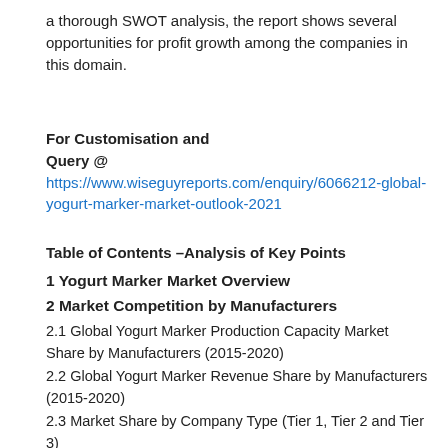a thorough SWOT analysis, the report shows several opportunities for profit growth among the companies in this domain.
For Customisation and Query @ https://www.wiseguyreports.com/enquiry/6066212-global-yogurt-marker-market-outlook-2021
Table of Contents –Analysis of Key Points
1 Yogurt Marker Market Overview
2 Market Competition by Manufacturers
2.1 Global Yogurt Marker Production Capacity Market Share by Manufacturers (2015-2020)
2.2 Global Yogurt Marker Revenue Share by Manufacturers (2015-2020)
2.3 Market Share by Company Type (Tier 1, Tier 2 and Tier 3)
2.4 Global Yogurt Marker Average Price by Manufacturers (2015-2020)
2.5 Manufacturers Yogurt Marker Production Sites, Area Served, Product Types